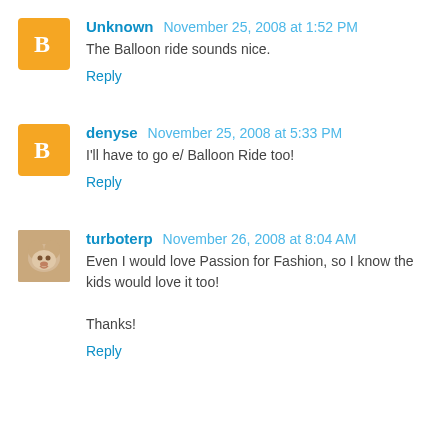Unknown  November 25, 2008 at 1:52 PM
The Balloon ride sounds nice.
Reply
denyse  November 25, 2008 at 5:33 PM
I'll have to go e/ Balloon Ride too!
Reply
turboterp  November 26, 2008 at 8:04 AM
Even I would love Passion for Fashion, so I know the kids would love it too!

Thanks!
Reply